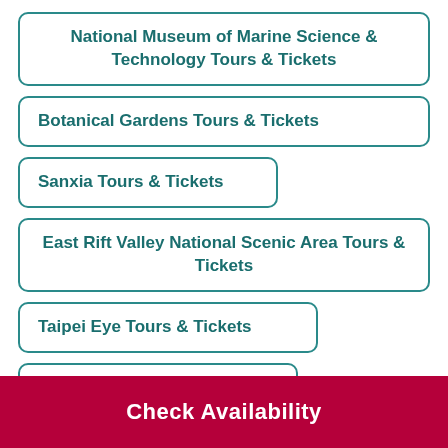National Museum of Marine Science & Technology Tours & Tickets
Botanical Gardens Tours & Tickets
Sanxia Tours & Tickets
East Rift Valley National Scenic Area Tours & Tickets
Taipei Eye Tours & Tickets
Taipei Zoo Tours & Tickets
(partial/cut off)
Check Availability